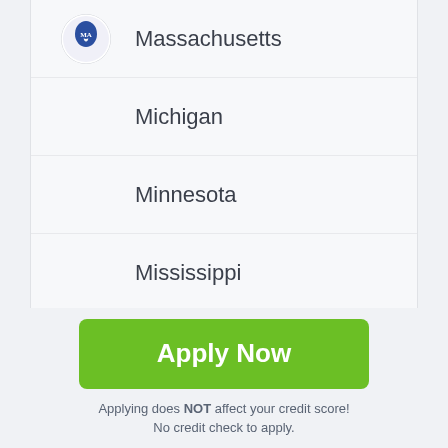Massachusetts
Michigan
Minnesota
Mississippi
Missouri
Montana
Apply Now
Applying does NOT affect your credit score! No credit check to apply.